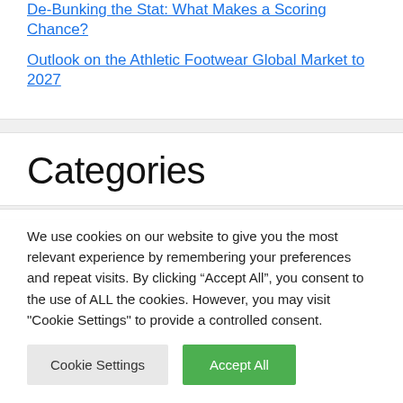De-Bunking the Stat: What Makes a Scoring Chance?
Outlook on the Athletic Footwear Global Market to 2027
Categories
We use cookies on our website to give you the most relevant experience by remembering your preferences and repeat visits. By clicking “Accept All”, you consent to the use of ALL the cookies. However, you may visit "Cookie Settings" to provide a controlled consent.